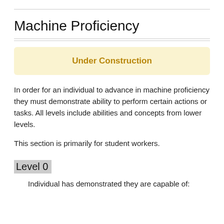Machine Proficiency
[Figure (infographic): Yellow 'Under Construction' banner box with bold golden text]
In order for an individual to advance in machine proficiency they must demonstrate ability to perform certain actions or tasks. All levels include abilities and concepts from lower levels.
This section is primarily for student workers.
Level 0
Individual has demonstrated they are capable of: